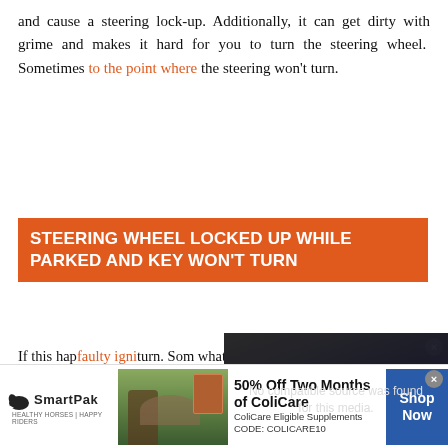and cause a steering lock-up. Additionally, it can get dirty with grime and makes it hard for you to turn the steering wheel. Sometimes to the point where the steering won't turn.
STEERING WHEEL LOCKED UP WHILE PARKED AND KEY WON'T TURN
If this hap... faulty igni... turn. Som... what you t...
[Figure (screenshot): Video player overlay showing 'No compatible source was found for this media.' message over a dark image of a Nissan engine/car part, with a large X close button and a small × in top right corner.]
[Figure (photo): SmartPak advertisement banner: SmartPak logo on left, horse and rider photo in center, '50% Off Two Months of ColiCare, ColiCare Eligible Supplements, CODE: COLICARE10' text, and blue 'Shop Now' button on right.]